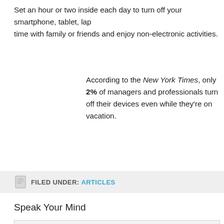Set an hour or two inside each day to turn off your smartphone, tablet, lap… time with family or friends and enjoy non-electronic activities.
According to the New York Times, only 2% of managers and professionals turn off their devices even while they're on vacation.
FILED UNDER: ARTICLES
Speak Your Mind